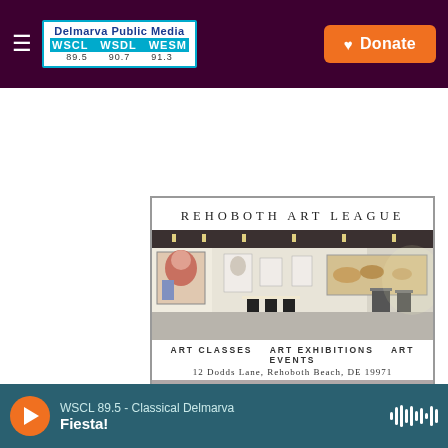Delmarva Public Media WSCL WSDL WESM 89.5 90.7 91.3 | Donate
[Figure (photo): Rehoboth Art League advertisement featuring gallery interior photo with artwork on walls and pedestals, text: REHOBOTH ART LEAGUE, ART CLASSES, ART EXHIBITIONS, ART EVENTS, 12 Dodds Lane, Rehoboth Beach, DE 19971]
WSCL 89.5 - Classical Delmarva | Fiesta!